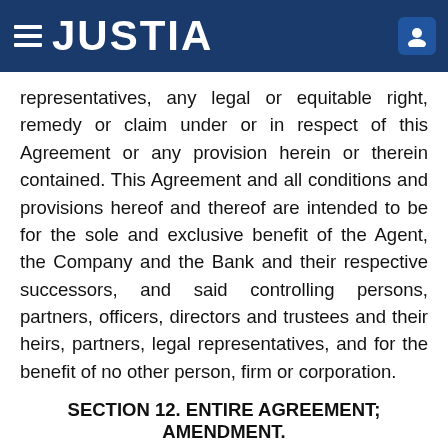JUSTIA
representatives, any legal or equitable right, remedy or claim under or in respect of this Agreement or any provision herein or therein contained. This Agreement and all conditions and provisions hereof and thereof are intended to be for the sole and exclusive benefit of the Agent, the Company and the Bank and their respective successors, and said controlling persons, partners, officers, directors and trustees and their heirs, partners, legal representatives, and for the benefit of no other person, firm or corporation.
SECTION 12. ENTIRE AGREEMENT; AMENDMENT.
This Agreement represents the entire understanding of the parties hereto with reference to the transactions contemplated hereby and supersedes any and all other oral or written agreements heretofore made, except for the records management engagement letter dated